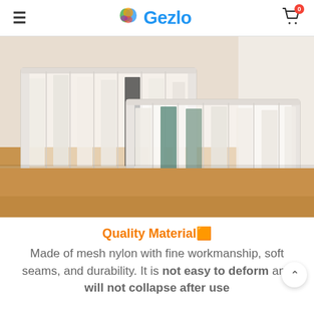≡  Gezlo  🛒 0
[Figure (photo): Two white mesh nylon storage organizer boxes with dividers, filled with folded clothes/jeans, placed on a wooden shelf]
Quality Material🟧
Made of mesh nylon with fine workmanship, soft seams, and durability. It is not easy to deform and will not collapse after use